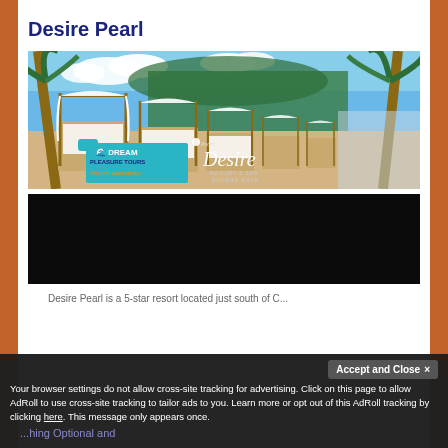Desire Pearl
[Figure (photo): Beach scene at Desire Pearl Resort showing white canopied daybeds lined up along a sandy beach with palm trees. Dream Pleasure Tours logo and Desire Resort & Spa Riviera Maya logo overlaid on image.]
[Figure (screenshot): Video thumbnail with black background showing title text 'Desire Resort Cancun']
Desire Pearl is a 5-star resort located just south of C...
Your browser settings do not allow cross-site tracking for advertising. Click on this page to allow AdRoll to use cross-site tracking to tailor ads to you. Learn more or opt out of this AdRoll tracking by clicking here. This message only appears once.
...hing Optional and